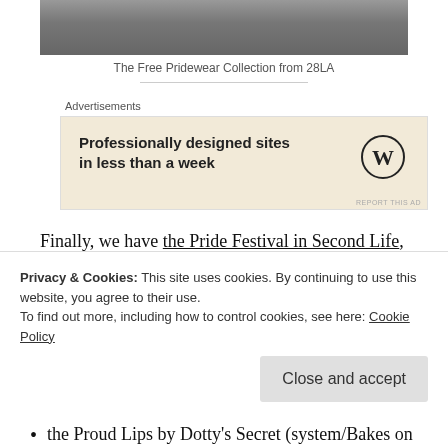[Figure (photo): Partial photo of a person wearing fashion items, cropped at top of page]
The Free Pridewear Collection from 28LA
Advertisements
[Figure (screenshot): WordPress advertisement: 'Professionally designed sites in less than a week' with WordPress logo]
Finally, we have the Pride Festival in Second Life, which runs from June 24th to 28th. Most of the vendor booths at this event have free gifts (you will have to join the free Pride Festival group to get
Privacy & Cookies: This site uses cookies. By continuing to use this website, you agree to their use.
To find out more, including how to control cookies, see here: Cookie Policy
the Proud Lips by Dotty's Secret (system/Bakes on